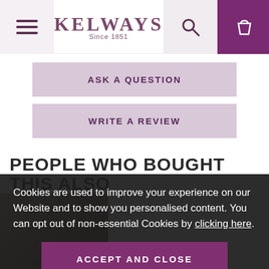Kelways Since 1851 — navigation header with menu, logo, search and bag icons
ASK A QUESTION
WRITE A REVIEW
PEOPLE WHO BOUGHT THIS ALSO BOUGHT
[Figure (photo): Product image thumbnail (partially visible at bottom left)]
Cookies are used to improve your experience on our Website and to show you personalised content. You can opt out of non-essential Cookies by clicking here.
ACCEPT AND CLOSE